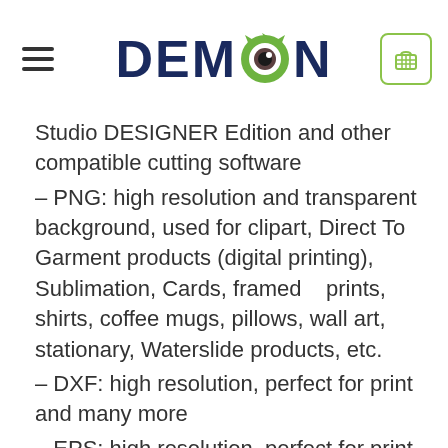DEMON (logo with monster eye icon)
Studio DESIGNER Edition and other compatible cutting software – PNG: high resolution and transparent background, used for clipart, Direct To Garment products (digital printing), Sublimation, Cards, framed prints, shirts, coffee mugs, pillows, wall art, stationary, Waterslide products, etc. – DXF: high resolution, perfect for print and many more – EPS: high resolution, perfect for print, Design and many more Your files will be ready to download immediately after your purchase. You will receive the download link (no watermark